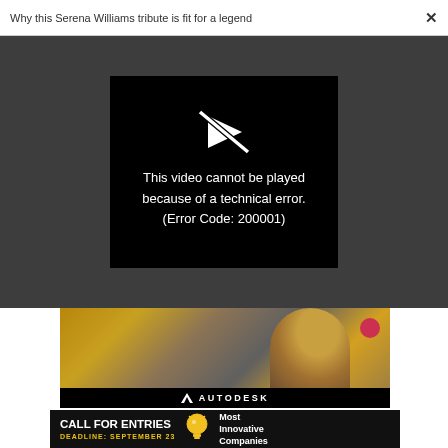Why this Serena Williams tribute is fit for a legend
[Figure (screenshot): Video player error screen on dark background showing broken video icon and error message: 'This video cannot be played because of a technical error. (Error Code: 200001)']
This video cannot be played because of a technical error. (Error Code: 200001)
[Figure (photo): Person wearing mustard/yellow sweater and pink top, leaning over a surface, with blurred foreground elements. Below is a black Autodesk logo bar.]
[Figure (infographic): Advertisement banner: 'CALL FOR ENTRIES' with 'DEADLINE: SEPTEMBER 23' in yellow, lightbulb icon, and 'Most Innovative Companies' text on dark background.]